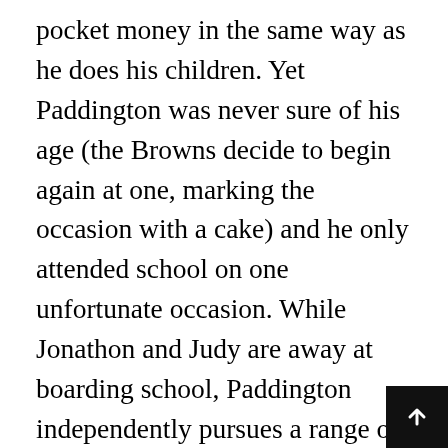pocket money in the same way as he does his children. Yet Paddington was never sure of his age (the Browns decide to begin again at one, marking the occasion with a cake) and he only attended school on one unfortunate occasion. While Jonathon and Judy are away at boarding school, Paddington independently pursues a range of activities (though he frequently tumbles into various scrapes) and tries out new hobbies. He befriends the market traders in the Portobello Road when he shops for Mrs Bird and has morning cocoa with Mr Gruber, a local antique dealer who greatly values Paddington's company and conversation. Therefore, he frequently inhabits an adult's world, albeit one where bears